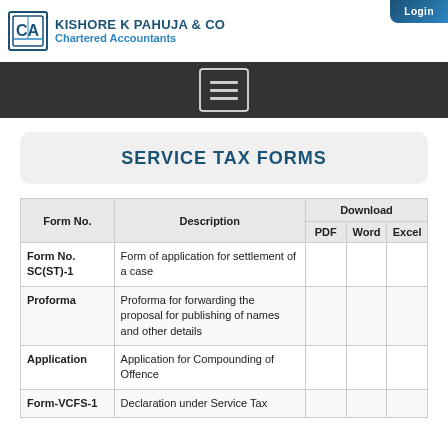KISHORE K PAHUJA & CO Chartered Accountants | Login
SERVICE TAX FORMS
| Form No. | Description | Download / PDF | Download / Word | Download / Excel |
| --- | --- | --- | --- | --- |
| Form No. SC(ST)-1 | Form of application for settlement of a case |  |  |  |
| Proforma | Proforma for forwarding the proposal for publishing of names and other details |  |  |  |
| Application | Application for Compounding of Offence |  |  |  |
| Form-VCFS-1 | Declaration under Service Tax |  |  |  |